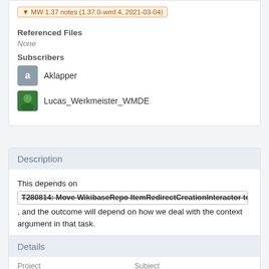MW 1.37 notes (1.37.0-wmf.4, 2021-03-04)
Referenced Files
None
Subscribers
Aklapper
Lucas_Werkmeister_WMDE
Description
This depends on T280814: Move WikibaseRepo ItemRedirectCreationInteractor to se, and the outcome will depend on how we deal with the context argument in that task.
Details
Project   Subject